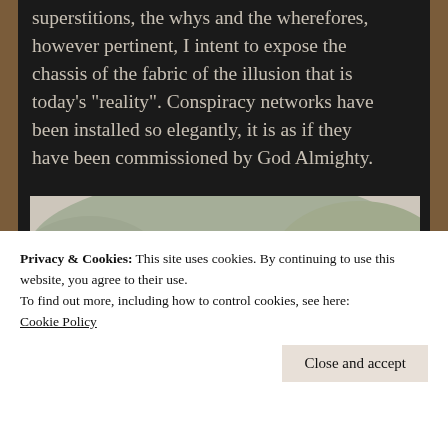superstitions, the whys and the wherefores, however pertinent, I intent to expose the chassis of the fabric of the illusion that is today's "reality". Conspiracy networks have been installed so elegantly, it is as if they have been commissioned by God Almighty.
[Figure (photo): A group of six diverse young adults outdoors, smiling and laughing together, with trees in the background and bright sunlight]
Privacy & Cookies: This site uses cookies. By continuing to use this website, you agree to their use.
To find out more, including how to control cookies, see here: Cookie Policy
Close and accept